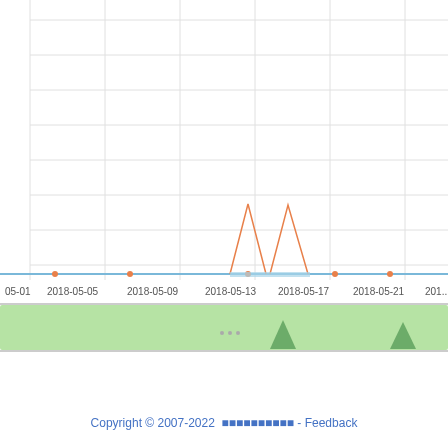[Figure (line-chart): Line chart showing two data series over dates from 2018-05-01 to ~2018-05-23. A blue horizontal line runs near zero throughout. An orange line has two sharp peaks around 2018-05-13 and 2018-05-15. A green navigator bar is at the bottom with miniature peaks.]
Copyright © 2007-2022  ████████████ - Feedback